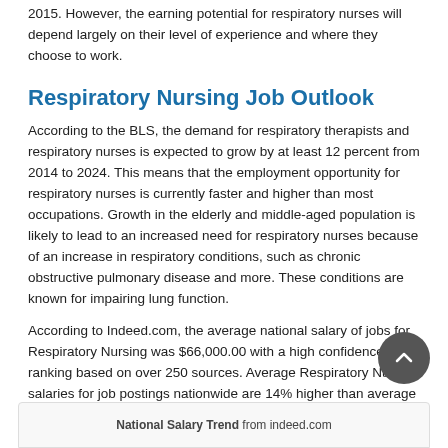2015. However, the earning potential for respiratory nurses will depend largely on their level of experience and where they choose to work.
Respiratory Nursing Job Outlook
According to the BLS, the demand for respiratory therapists and respiratory nurses is expected to grow by at least 12 percent from 2014 to 2024. This means that the employment opportunity for respiratory nurses is currently faster and higher than most occupations. Growth in the elderly and middle-aged population is likely to lead to an increased need for respiratory nurses because of an increase in respiratory conditions, such as chronic obstructive pulmonary disease and more. These conditions are known for impairing lung function.
According to Indeed.com, the average national salary of jobs for Respiratory Nursing was $66,000.00 with a high confidence ranking based on over 250 sources. Average Respiratory Nursing salaries for job postings nationwide are 14% higher than average salaries for all job postings nationwide.
National Salary Trend from indeed.com